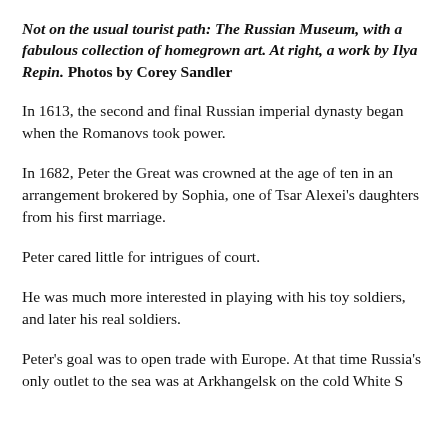Not on the usual tourist path: The Russian Museum, with a fabulous collection of homegrown art. At right, a work by Ilya Repin. Photos by Corey Sandler
In 1613, the second and final Russian imperial dynasty began when the Romanovs took power.
In 1682, Peter the Great was crowned at the age of ten in an arrangement brokered by Sophia, one of Tsar Alexei's daughters from his first marriage.
Peter cared little for intrigues of court.
He was much more interested in playing with his toy soldiers, and later his real soldiers.
Peter's goal was to open trade with Europe. At that time Russia's only outlet to the sea was at Arkhangelsk on the cold White S…